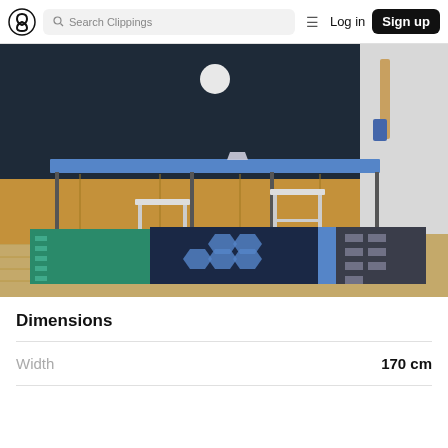Search Clippings | Log in | Sign up
[Figure (photo): Interior room with a blue table, two white metal stools, and a decorative rug featuring geometric patterns in teal, dark blue, and grey. Background has dark navy walls, wood panelling, and a spherical pendant light.]
Dimensions
|  |  |
| --- | --- |
| Width | 170 cm |